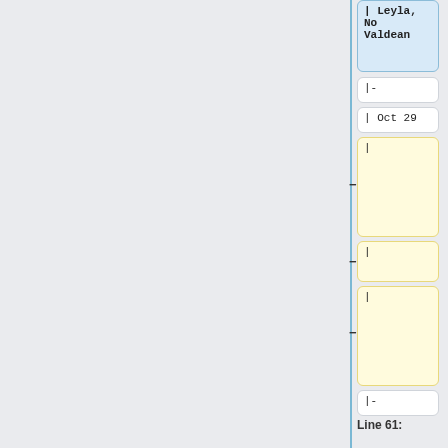Leyla, No Valdean
|-
| Oct 29
|-
| Oct 29
|
| Halloween of the Future!
|
| Leyla
|
| No Valdean, No Beth F.
|-
|-
| Oct 31
| Oct 31
Line 61:
Line 179:
|-
|-